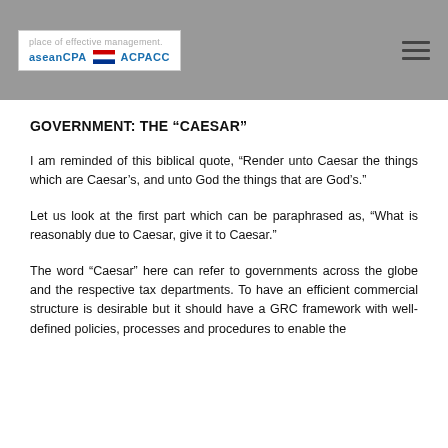place of effective management. aseancpa ACPACC
GOVERNMENT: THE “CAESAR”
I am reminded of this biblical quote, “Render unto Caesar the things which are Caesar’s, and unto God the things that are God’s.”
Let us look at the first part which can be paraphrased as, “What is reasonably due to Caesar, give it to Caesar.”
The word “Caesar” here can refer to governments across the globe and the respective tax departments. To have an efficient commercial structure is desirable but it should have a GRC framework with well-defined policies, processes and procedures to enable the